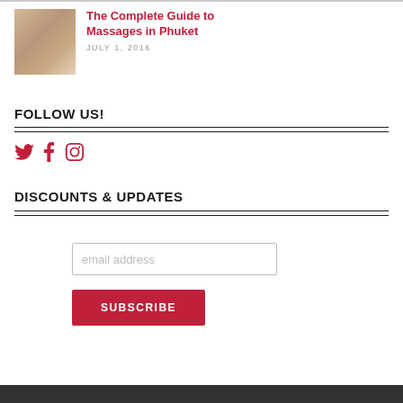[Figure (photo): Thumbnail photo of a person receiving a massage at a spa in Phuket]
The Complete Guide to Massages in Phuket
JULY 1, 2016
FOLLOW US!
[Figure (illustration): Social media icons: Twitter bird, Facebook f, Instagram camera]
DISCOUNTS & UPDATES
email address
SUBSCRIBE